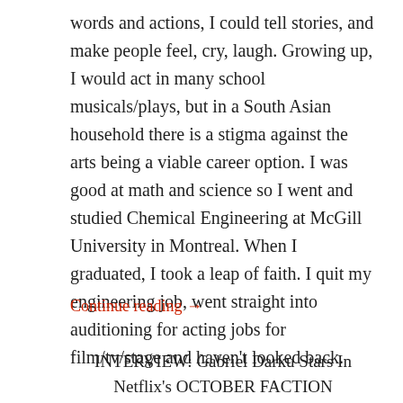words and actions, I could tell stories, and make people feel, cry, laugh. Growing up, I would act in many school musicals/plays, but in a South Asian household there is a stigma against the arts being a viable career option. I was good at math and science so I went and studied Chemical Engineering at McGill University in Montreal. When I graduated, I took a leap of faith. I quit my engineering job, went straight into auditioning for acting jobs for film/tv/stage and haven't looked back.
Continue reading →
INTERVIEW: Gabriel Darku Stars In Netflix's OCTOBER FACTION